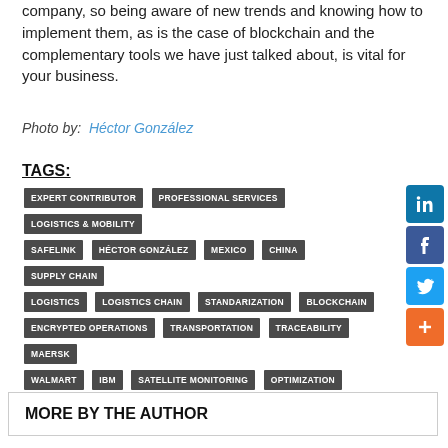company, so being aware of new trends and knowing how to implement them, as is the case of blockchain and the complementary tools we have just talked about, is vital for your business.
Photo by:  Héctor González
TAGS:
EXPERT CONTRIBUTOR
PROFESSIONAL SERVICES
LOGISTICS & MOBILITY
SAFELINK
HÉCTOR GONZÁLEZ
MEXICO
CHINA
SUPPLY CHAIN
LOGISTICS
LOGISTICS CHAIN
STANDARIZATION
BLOCKCHAIN
ENCRYPTED OPERATIONS
TRANSPORTATION
TRACEABILITY
MAERSK
WALMART
IBM
SATELLITE MONITORING
OPTIMIZATION
FREIGHT TRANSPORT
GEOLOCATION
SMART CONTRACTS
MORE BY THE AUTHOR